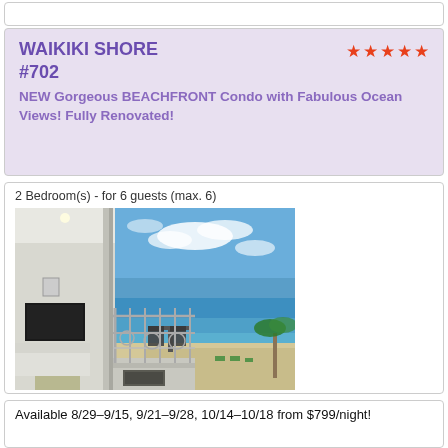WAIKIKI SHORE #702
NEW Gorgeous BEACHFRONT Condo with Fabulous Ocean Views! Fully Renovated!
2 Bedroom(s) - for 6 guests (max. 6)
[Figure (photo): Beachfront condo balcony with ocean view, blue sky, white interior with TV visible through glass doors, outdoor dining table and chairs on balcony, decorative metal railing, sandy beach below with lounge chairs and palm trees]
Available 8/29–9/15, 9/21–9/28, 10/14–10/18 from $799/night!